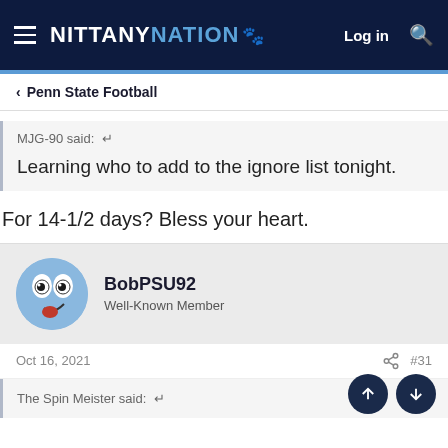NITTANY NATION — Log in
Penn State Football
MJG-90 said:
Learning who to add to the ignore list tonight.
For 14-1/2 days? Bless your heart.
BobPSU92
Well-Known Member
Oct 16, 2021  #31
The Spin Meister said: